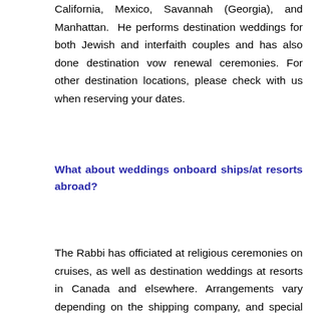California, Mexico, Savannah (Georgia), and Manhattan. He performs destination weddings for both Jewish and interfaith couples and has also done destination vow renewal ceremonies. For other destination locations, please check with us when reserving your dates.
What about weddings onboard ships/at resorts abroad?
The Rabbi has officiated at religious ceremonies on cruises, as well as destination weddings at resorts in Canada and elsewhere. Arrangements vary depending on the shipping company, and special plans need to be made with the venue or resort, but we will be pleased to discuss this with